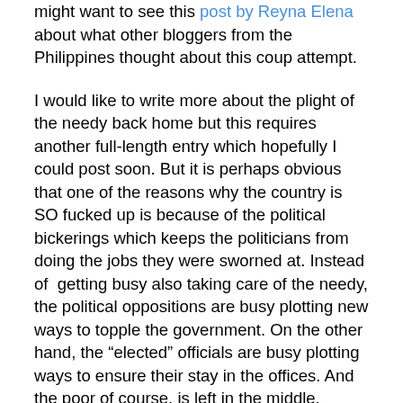might want to see this post by Reyna Elena about what other bloggers from the Philippines thought about this coup attempt.
I would like to write more about the plight of the needy back home but this requires another full-length entry which hopefully I could post soon. But it is perhaps obvious that one of the reasons why the country is SO fucked up is because of the political bickerings which keeps the politicians from doing the jobs they were sworned at. Instead of  getting busy also taking care of the needy, the political oppositions are busy plotting new ways to topple the government. On the other hand, the “elected” officials are busy plotting ways to ensure their stay in the offices. And the poor of course, is left in the middle. Fortunately there are charitable organizations, and charitable nations like Sweden, which make sure that the needy and